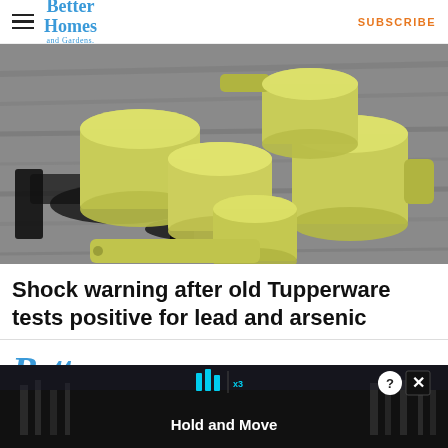Better Homes and Gardens | SUBSCRIBE
[Figure (photo): Yellow Tupperware measuring cups set on a weathered wooden surface, photographed from above at a slight angle. Multiple cup sizes visible with handles, casting shadows on the grey wood grain.]
Shock warning after old Tupperware tests positive for lead and arsenic
[Figure (screenshot): Advertisement overlay at bottom of page showing a dark background with trees, a Hold and Move prompt, cyan bar chart icons, a question mark button and an X close button.]